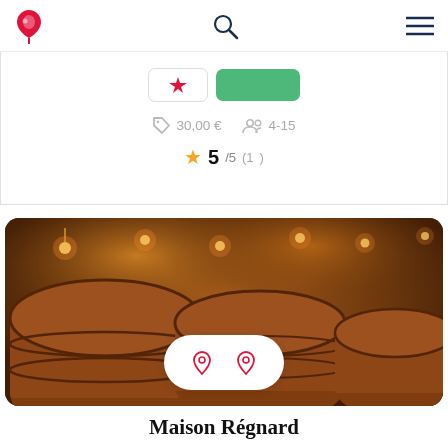Winery app header with logo, search, and menu icons
30,00 € · 4-15
5/5 (1 )
[Figure (photo): Wine barrels in a dimly lit cellar with warm candlelight]
Maison Régnard